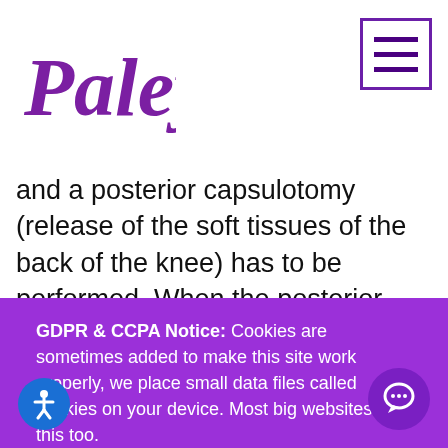[Figure (logo): Paley Institute cursive logo in purple]
and a posterior capsulotomy (release of the soft tissues of the back of the knee) has to be performed. When the posterior capsule is released, it is often
GDPR & CCPA Notice: Cookies are sometimes added to make this site work properly, we place small data files called cookies on your device. Most big websites do this too.

We won't collect any data if you select decline
✔ Accept
Decline ✕